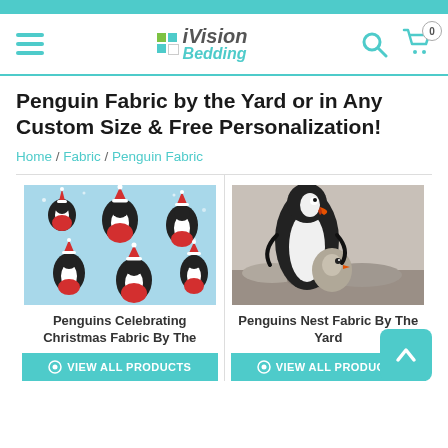Vision Bedding — navigation bar with hamburger menu, logo, search icon, cart icon (0 items)
Penguin Fabric by the Yard or in Any Custom Size & Free Personalization!
Home / Fabric / Penguin Fabric
[Figure (photo): Penguins Celebrating Christmas fabric swatch — cartoon penguins in Santa hats on a blue background with snowflakes]
Penguins Celebrating Christmas Fabric By The
[Figure (photo): Penguins Nest Fabric — photo of a penguin with chick, black and white plumage with orange beak]
Penguins Nest Fabric By The Yard